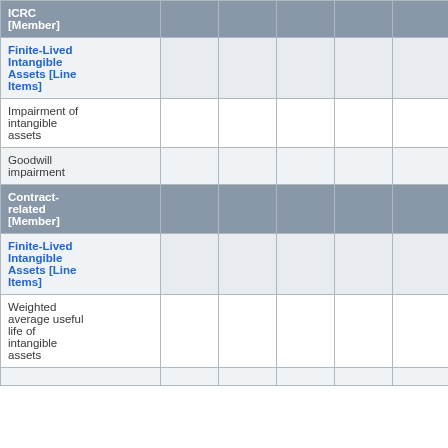|  |  |  |  |  |  |
| --- | --- | --- | --- | --- | --- |
| ICRC [Member] |  |  |  |  |  |
| Finite-Lived Intangible Assets [Line Items] |  |  |  |  |  |
| Impairment of intangible assets |  |  |  |  |  |
| Goodwill impairment |  |  |  |  |  |
| Contract-related [Member] |  |  |  |  |  |
| Finite-Lived Intangible Assets [Line Items] |  |  |  |  |  |
| Weighted average useful life of intangible assets |  |  |  |  |  |